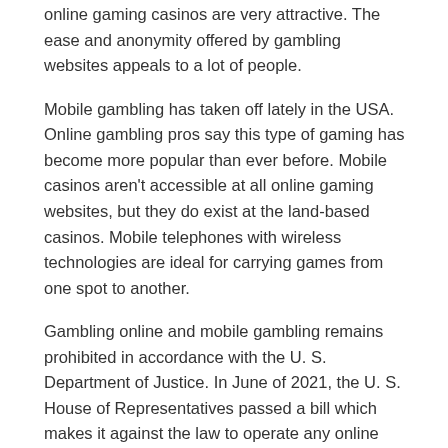online gaming casinos are very attractive. The ease and anonymity offered by gambling websites appeals to a lot of people.
Mobile gambling has taken off lately in the USA. Online gambling pros say this type of gaming has become more popular than ever before. Mobile casinos aren't accessible at all online gaming websites, but they do exist at the land-based casinos. Mobile telephones with wireless technologies are ideal for carrying games from one spot to another.
Gambling online and mobile gambling remains prohibited in accordance with the U. S. Department of Justice. In June of 2021, the U. S. House of Representatives passed a bill which makes it against the law to operate any online casino site that serves as a site offering illegal gaming. If this bill becomes law, the U. S. State Department could tag all e-gamblers from the U. S.as addicted to gaming. This classification can make it very hard for U. S.citizens to go into the country to gamble. The proposed bill also makes it a federal crime to transfer money to an illegal gambling site.
Many online casinos have already implemented a process to